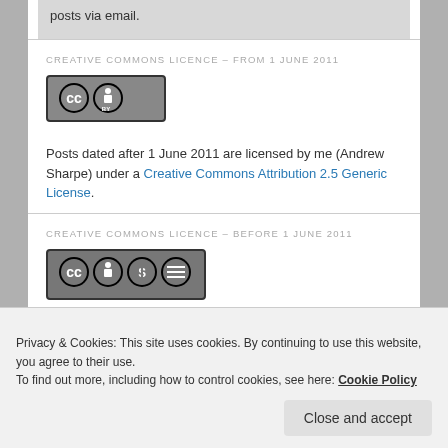posts via email.
CREATIVE COMMONS LICENCE – FROM 1 JUNE 2011
[Figure (logo): Creative Commons BY license badge]
Posts dated after 1 June 2011 are licensed by me (Andrew Sharpe) under a Creative Commons Attribution 2.5 Generic License.
CREATIVE COMMONS LICENCE – BEFORE 1 JUNE 2011
[Figure (logo): Creative Commons BY-NC-ND license badge]
Privacy & Cookies: This site uses cookies. By continuing to use this website, you agree to their use.
To find out more, including how to control cookies, see here: Cookie Policy
Close and accept